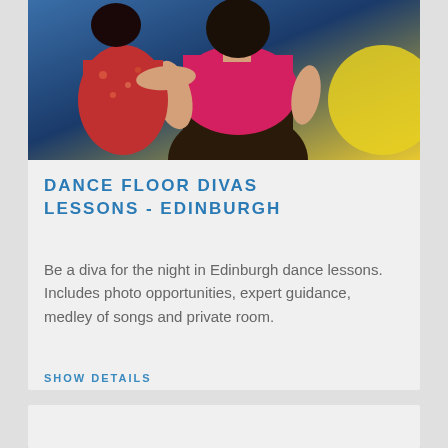[Figure (photo): Two women dancing; one wears a pink top and the other a red floral top, against a blue and yellow background]
DANCE FLOOR DIVAS LESSONS - EDINBURGH
Be a diva for the night in Edinburgh dance lessons. Includes photo opportunities, expert guidance, medley of songs and private room.
SHOW DETAILS